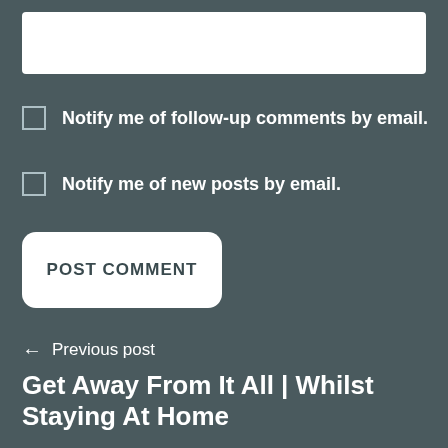[Figure (screenshot): White input field at the top of the page]
Notify me of follow-up comments by email.
Notify me of new posts by email.
POST COMMENT
← Previous post
Get Away From It All | Whilst Staying At Home